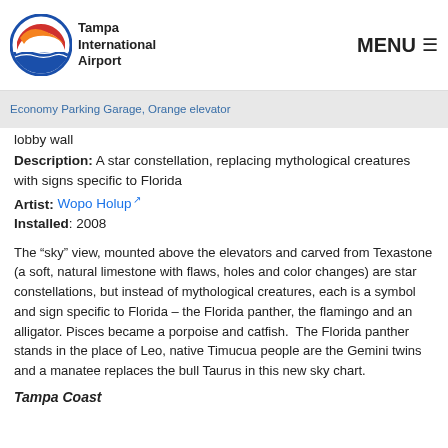Tampa International Airport | MENU
Economy Parking Garage, Orange elevator lobby wall
Description: A star constellation, replacing mythological creatures with signs specific to Florida
Artist: Wopo Holup
Installed: 2008
The “sky” view, mounted above the elevators and carved from Texastone (a soft, natural limestone with flaws, holes and color changes) are star constellations, but instead of mythological creatures, each is a symbol and sign specific to Florida – the Florida panther, the flamingo and an alligator. Pisces became a porpoise and catfish.  The Florida panther stands in the place of Leo, native Timucua people are the Gemini twins and a manatee replaces the bull Taurus in this new sky chart.
Tampa Coast